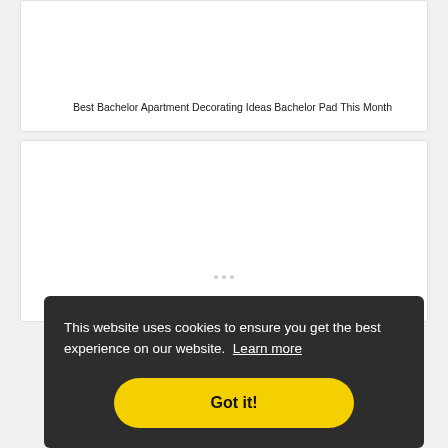Best Bachelor Apartment Decorating Ideas Bachelor Pad This Month
[Figure (other): White card area with loading spinner]
This website uses cookies to ensure you get the best experience on our website. Learn more
Got it!